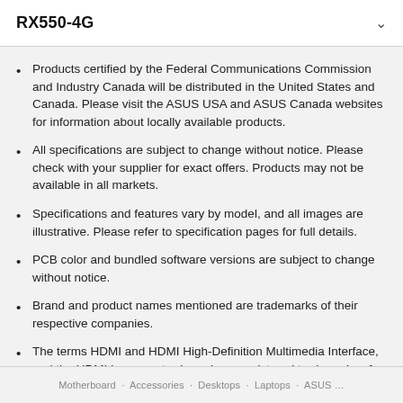RX550-4G
Products certified by the Federal Communications Commission and Industry Canada will be distributed in the United States and Canada. Please visit the ASUS USA and ASUS Canada websites for information about locally available products.
All specifications are subject to change without notice. Please check with your supplier for exact offers. Products may not be available in all markets.
Specifications and features vary by model, and all images are illustrative. Please refer to specification pages for full details.
PCB color and bundled software versions are subject to change without notice.
Brand and product names mentioned are trademarks of their respective companies.
The terms HDMI and HDMI High-Definition Multimedia Interface, and the HDMI Logo are trademarks or registered trademarks of HDMI Licensing Administrator, Inc. in the United States and other countries.
Motherboard · Accessories · Desktops · Laptops · ASUS …